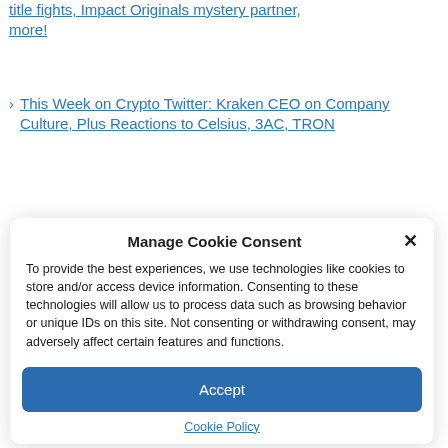title fights, Impact Originals mystery partner, more!
This Week on Crypto Twitter: Kraken CEO on Company Culture, Plus Reactions to Celsius, 3AC, TRON
Manage Cookie Consent
To provide the best experiences, we use technologies like cookies to store and/or access device information. Consenting to these technologies will allow us to process data such as browsing behavior or unique IDs on this site. Not consenting or withdrawing consent, may adversely affect certain features and functions.
Accept
Cookie Policy